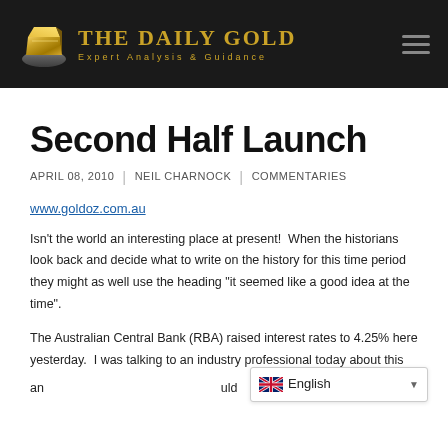THE DAILY GOLD — Expert Analysis & Guidance
Second Half Launch
APRIL 08, 2010  |  NEIL CHARNOCK  |  COMMENTARIES
www.goldoz.com.au
Isn't the world an interesting place at present!  When the historians look back and decide what to write on the history for this time period they might as well use the heading "it seemed like a good idea at the time".
The Australian Central Bank (RBA) raised interest rates to 4.25% here yesterday.  I was talking to an industry professional today about this and...